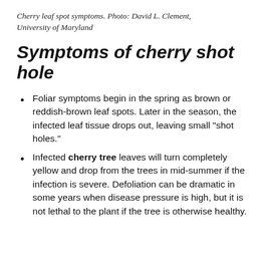Cherry leaf spot symptoms. Photo: David L. Clement, University of Maryland
Symptoms of cherry shot hole
Foliar symptoms begin in the spring as brown or reddish-brown leaf spots. Later in the season, the infected leaf tissue drops out, leaving small “shot holes.”
Infected cherry tree leaves will turn completely yellow and drop from the trees in mid-summer if the infection is severe. Defoliation can be dramatic in some years when disease pressure is high, but it is not lethal to the plant if the tree is otherwise healthy.